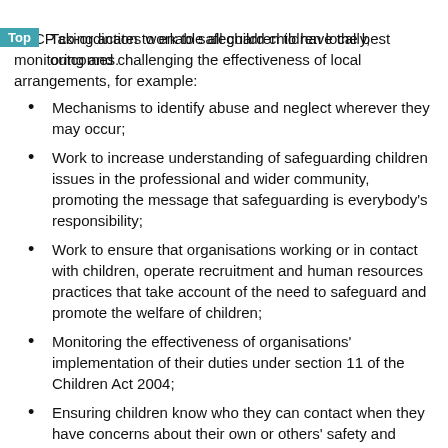Taking action to enable all children to have the best outcomes.
SSCP co-ordinates work to safeguard children locally, monitoring and challenging the effectiveness of local arrangements, for example:
Mechanisms to identify abuse and neglect wherever they may occur;
Work to increase understanding of safeguarding children issues in the professional and wider community, promoting the message that safeguarding is everybody's responsibility;
Work to ensure that organisations working or in contact with children, operate recruitment and human resources practices that take account of the need to safeguard and promote the welfare of children;
Monitoring the effectiveness of organisations' implementation of their duties under section 11 of the Children Act 2004;
Ensuring children know who they can contact when they have concerns about their own or others' safety and welfare;
Ensuring that adults (including those who are harming children) know who they can contact if they have a concern about a child or young person;